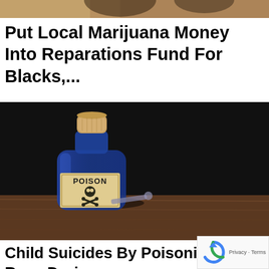[Figure (photo): Partially visible photograph at top of page, cropped — shows clothing or hair of people]
Put Local Marijuana Money Into Reparations Fund For Blacks,...
[Figure (photo): A blue glass poison bottle with a cork stopper and a label reading 'POISON' with a skull and crossbones, resting on a wooden surface in a dark setting]
Child Suicides By Poisoning Rose During Pandemic, Stu...